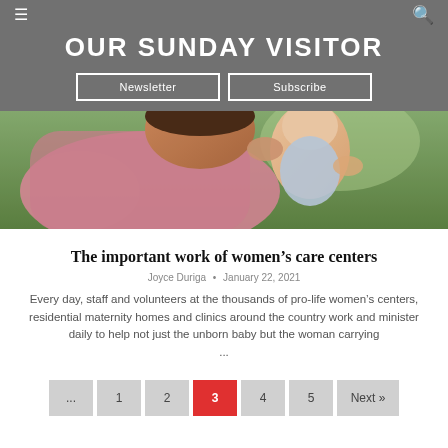OUR SUNDAY VISITOR
Newsletter   Subscribe
[Figure (photo): A woman holding and looking closely at a newborn baby outdoors, pro-life women's care center related imagery.]
The important work of women’s care centers
Joyce Duriga • January 22, 2021
Every day, staff and volunteers at the thousands of pro-life women’s centers, residential maternity homes and clinics around the country work and minister daily to help not just the unborn baby but the woman carrying ...
... 1 2 3 4 5 Next »